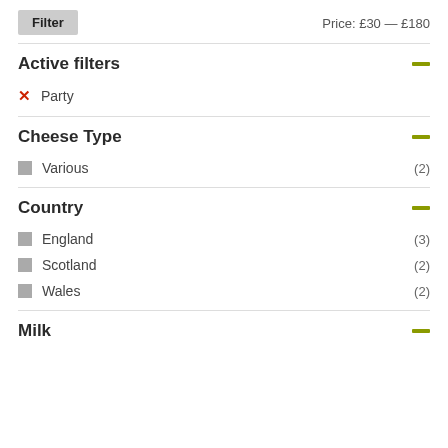Filter
Price: £30 — £180
Active filters
✕ Party
Cheese Type
Various (2)
Country
England (3)
Scotland (2)
Wales (2)
Milk